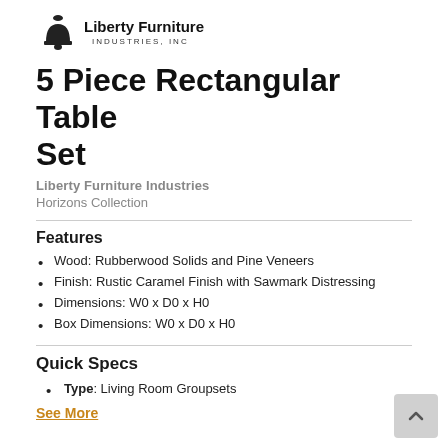[Figure (logo): Liberty Furniture Industries, Inc. logo with bell icon]
5 Piece Rectangular Table Set
Liberty Furniture Industries
Horizons Collection
Features
Wood: Rubberwood Solids and Pine Veneers
Finish: Rustic Caramel Finish with Sawmark Distressing
Dimensions: W0 x D0 x H0
Box Dimensions: W0 x D0 x H0
Quick Specs
Type: Living Room Groupsets
See More